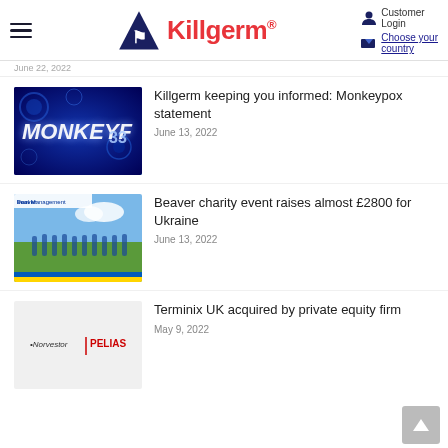Killgerm — Customer Login, Choose your country
June 22, 2022
[Figure (screenshot): Monkeypox thumbnail image with dark blue background and glowing text MONKEYF]
Killgerm keeping you informed: Monkeypox statement
June 13, 2022
[Figure (photo): Football charity event photo with team group and Beaver Pool Management logo banner]
Beaver charity event raises almost £2800 for Ukraine
June 13, 2022
[Figure (logo): Norvestor PELIAS logo on grey/white background]
Terminix UK acquired by private equity firm
May 9, 2022